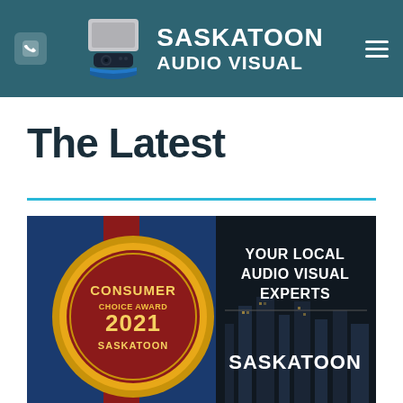Saskatoon Audio Visual
The Latest
[Figure (illustration): Consumer Choice Award 2021 Saskatoon badge with gold circle on blue/red background, beside text 'YOUR LOCAL AUDIO VISUAL EXPERTS' and 'SASKATOON' on dark background]